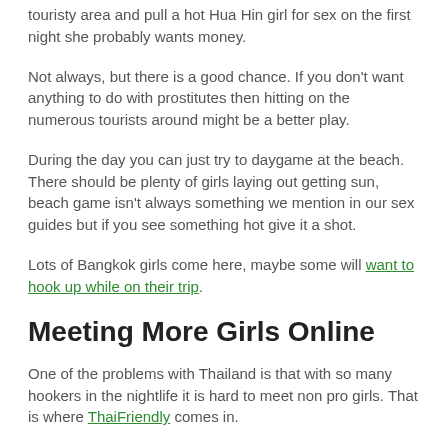touristy area and pull a hot Hua Hin girl for sex on the first night she probably wants money.
Not always, but there is a good chance. If you don't want anything to do with prostitutes then hitting on the numerous tourists around might be a better play.
During the day you can just try to daygame at the beach. There should be plenty of girls laying out getting sun, beach game isn't always something we mention in our sex guides but if you see something hot give it a shot.
Lots of Bangkok girls come here, maybe some will want to hook up while on their trip.
Meeting More Girls Online
One of the problems with Thailand is that with so many hookers in the nightlife it is hard to meet non pro girls. That is where ThaiFriendly comes in.